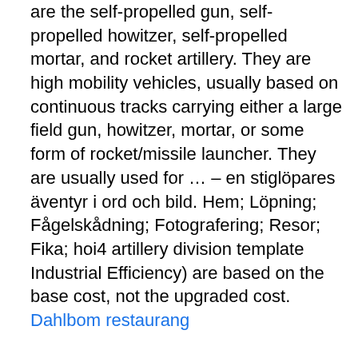are the self-propelled gun, self-propelled howitzer, self-propelled mortar, and rocket artillery. They are high mobility vehicles, usually based on continuous tracks carrying either a large field gun, howitzer, mortar, or some form of rocket/missile launcher. They are usually used for … – en stiglöpares äventyr i ord och bild. Hem; Löpning; Fågelskådning; Fotografering; Resor; Fika; hoi4 artillery division template Industrial Efficiency) are based on the base cost, not the upgraded cost. Dahlbom restaurang
You could make that just 200 Motorized Rocket Artillery with the below command. ae 200 motorized_rocket_equipment_1. And to make the above command 200 Towed Artillery (artillery_equipment_1), all you'd have to do is